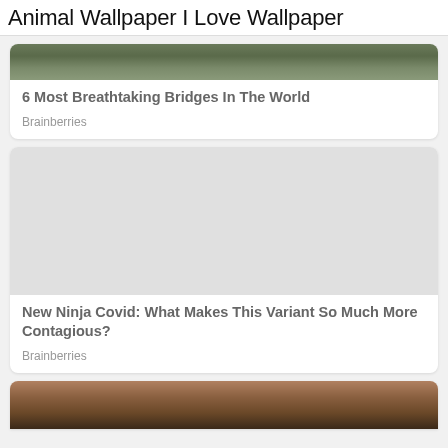Animal Wallpaper I Love Wallpaper
6 Most Breathtaking Bridges In The World
Brainberries
New Ninja Covid: What Makes This Variant So Much More Contagious?
Brainberries